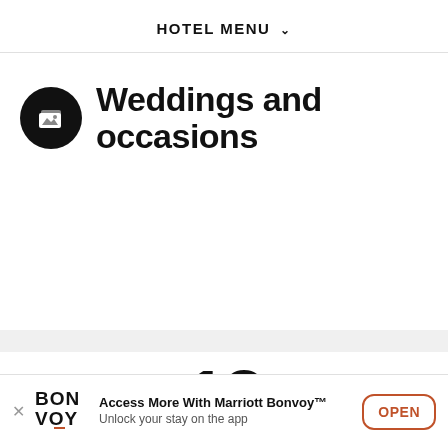HOTEL MENU
Weddings and occasions
18
Access More With Marriott Bonvoy™ Unlock your stay on the app